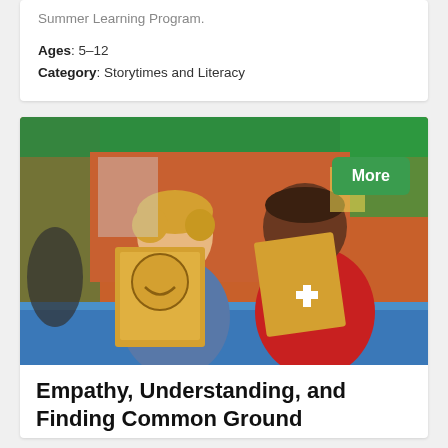Summer Learning Program.
Ages: 5–12
Category: Storytimes and Literacy
[Figure (photo): Two boys sitting at a blue table, smiling and looking at manila envelope drawings. Background shows a colorful indoor educational space with green and orange walls.]
Empathy, Understanding, and Finding Common Ground